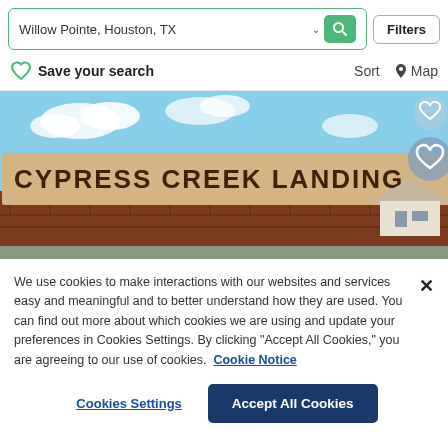[Figure (screenshot): Search bar with text 'Willow Pointe, Houston, TX', a green search button with magnifying glass icon, and a 'Filters' button]
Save your search    Sort  Map
[Figure (photo): Outdoor photo of a brick entrance sign reading 'CYPRESS CREEK LANDING' against a blue sky with clouds]
We use cookies to make interactions with our websites and services easy and meaningful and to better understand how they are used. You can find out more about which cookies we are using and update your preferences in Cookies Settings. By clicking "Accept All Cookies," you are agreeing to our use of cookies.  Cookie Notice
Cookies Settings    Accept All Cookies